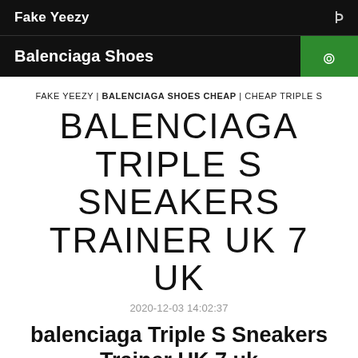Fake Yeezy
Balenciaga Shoes
FAKE YEEZY | BALENCIAGA SHOES CHEAP | CHEAP TRIPLE S
BALENCIAGA TRIPLE S SNEAKERS TRAINER UK 7 UK
2020-12-03 14:02:37
balenciaga Triple S Sneakers Trainer UK 7 uk